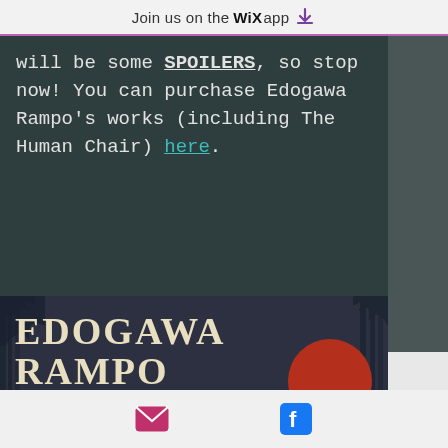Join us on the WiX app ⬇
will be some SPOILERS, so stop now! You can purchase Edogawa Rampo's works (including The Human Chair) here.
[Figure (illustration): Book cover or promotional image for Edogawa Rampo showing the author name in large decorative text against a dark illustrated background with trees and a red moon]
Email icon | Facebook icon